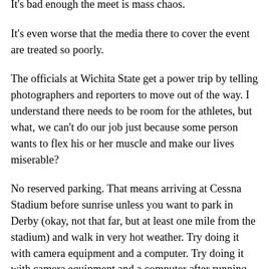It's bad enough the meet is mass chaos.
It's even worse that the media there to cover the event are treated so poorly.
The officials at Wichita State get a power trip by telling photographers and reporters to move out of the way. I understand there needs to be room for the athletes, but what, we can't do our job just because some person wants to flex his or her muscle and make our lives miserable?
No reserved parking. That means arriving at Cessna Stadium before sunrise unless you want to park in Derby (okay, not that far, but at least one mile from the stadium) and walk in very hot weather. Try doing it with camera equipment and a computer. Try doing it with camera equipment and a computer after running around for five, six, up to 11 hours chasing everything and anything just so